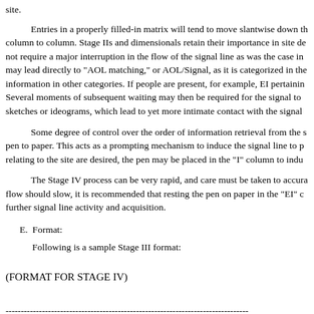site.
Entries in a properly filled-in matrix will tend to move slantwise down the column to column. Stage IIs and dimensionals retain their importance in site de not require a major interruption in the flow of the signal line as was the case in may lead directly to "AOL matching," or AOL/Signal, as it is categorized in the information in other categories. If people are present, for example, EI pertainin Several moments of subsequent waiting may then be required for the signal to sketches or ideograms, which lead to yet more intimate contact with the signal
Some degree of control over the order of information retrieval from the s pen to paper. This acts as a prompting mechanism to induce the signal line to p relating to the site are desired, the pen may be placed in the "I" column to indu
The Stage IV process can be very rapid, and care must be taken to accura flow should slow, it is recommended that resting the pen on paper in the "EI" c further signal line activity and acquisition.
E.  Format:
Following is a sample Stage III format:
(FORMAT FOR STAGE IV)
--------------------------------------------------------------------------------
Note